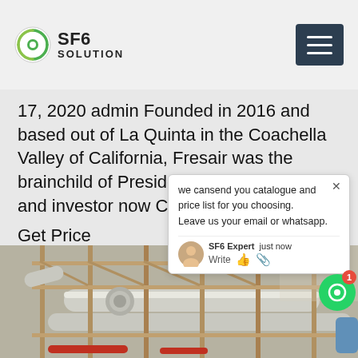SF6 SOLUTION
17, 2020 admin Founded in 2016 and based out of La Quinta in the Coachella Valley of California, Fresair was the brainchild of President Eric Schuckman and investor now CEO
Get Price
we cansend you catalogue and price list for you choosing.
Leave us your email or whatsapp.
SF6 Expert   just now
Write
[Figure (photo): Industrial piping and scaffolding infrastructure, large white pipes and metal framework, outdoor industrial facility]